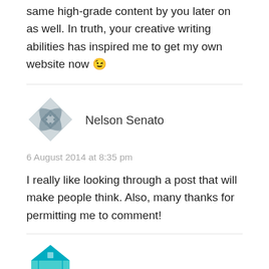same high-grade content by you later on as well. In truth, your creative writing abilities has inspired me to get my own website now 😉
Nelson Senato
6 August 2014 at 8:35 pm
I really like looking through a post that will make people think. Also, many thanks for permitting me to comment!
[Figure (illustration): Partial avatar icon at bottom, teal/turquoise geometric house-like avatar shape, partially cropped]